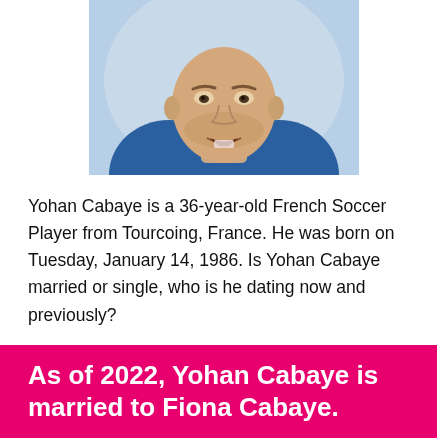[Figure (photo): Close-up photo of Yohan Cabaye, a man wearing a blue jacket, mouth slightly open, light blue background]
Yohan Cabaye is a 36-year-old French Soccer Player from Tourcoing, France. He was born on Tuesday, January 14, 1986. Is Yohan Cabaye married or single, who is he dating now and previously?
As of 2022, Yohan Cabaye is married to Fiona Cabaye.
RELATIONSHIP DETAILS BELOW ↳